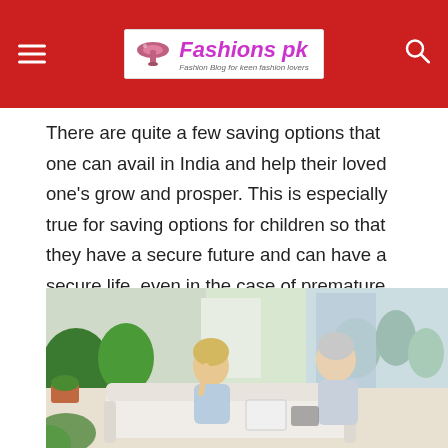Fashions pk
There are quite a few saving options that one can avail in India and help their loved one's grow and prosper. This is especially true for saving options for children so that they have a secure future and can have a secure life, even in the case of premature death of the parent.
[Figure (photo): An elderly couple sitting on a sofa, appearing stressed, reviewing financial documents with a calculator. Set in a bright indoor space with greenery visible outside.]